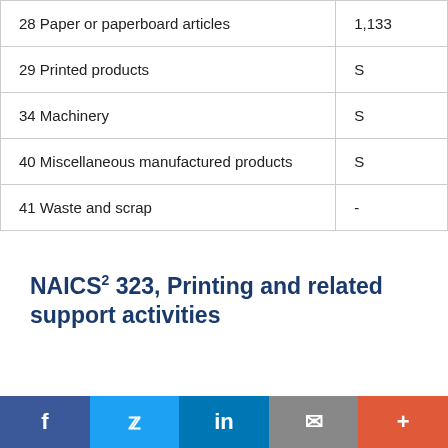| 28 Paper or paperboard articles | 1,133 |
| 29 Printed products | S |
| 34 Machinery | S |
| 40 Miscellaneous manufactured products | S |
| 41 Waste and scrap | - |
NAICS² 323, Printing and related support activities
| Commodity Description (SCTG³ Code) | Value |
| --- | --- |